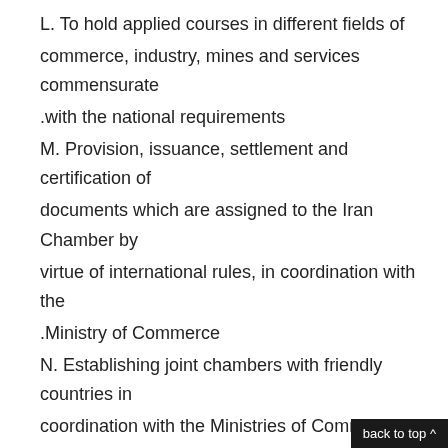L. To hold applied courses in different fields of commerce, industry, mines and services commensurate with the national requirements.
M. Provision, issuance, settlement and certification of documents which are assigned to the Iran Chamber by virtue of international rules, in coordination with the Ministry of Commerce.
N. Establishing joint chambers with friendly countries in coordination with the Ministries of Commerce and Foreign Affairs.
BODIES OF THE IRAN CHAMBER
Article ז: The bodies of the Iran Chamber are as follows:
A. The Supreme Supervisory Council
B. The Board of Delegates